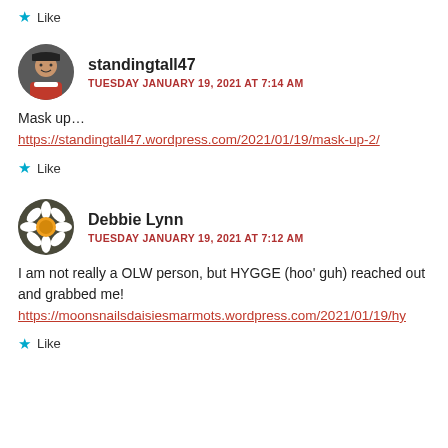★ Like
standingtall47
TUESDAY JANUARY 19, 2021 AT 7:14 AM
Mask up…
https://standingtall47.wordpress.com/2021/01/19/mask-up-2/
★ Like
Debbie Lynn
TUESDAY JANUARY 19, 2021 AT 7:12 AM
I am not really a OLW person, but HYGGE (hoo' guh) reached out and grabbed me!
https://moonsnailsdaisiesmarmots.wordpress.com/2021/01/19/hy
★ Like